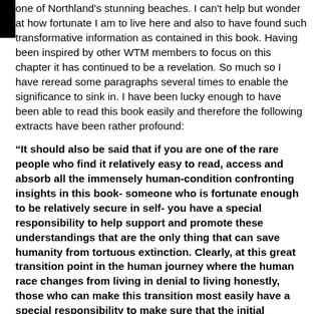one of Northland's stunning beaches. I can't help but wonder at how fortunate I am to live here and also to have found such transformative information as contained in this book. Having been inspired by other WTM members to focus on this chapter it has continued to be a revelation. So much so I have reread some paragraphs several times to enable the significance to sink in. I have been lucky enough to have been able to read this book easily and therefore the following extracts have been rather profound:
“It should also be said that if you are one of the rare people who find it relatively easy to read, access and absorb all the immensely human-condition confronting insights in this book- someone who is fortunate enough to be relatively secure in self- you have a special responsibility to help support and promote these understandings that are the only thing that can save humanity from tortuous extinction. Clearly, at this great transition point in the human journey where the human race changes from living in denial to living honestly, those who can make this transition most easily have a special responsibility to make sure that the initial inclination